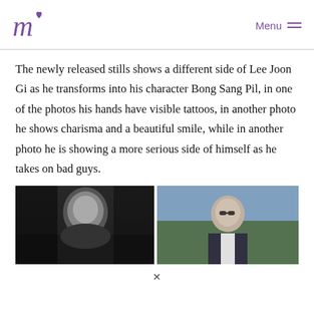Menu
The newly released stills shows a different side of Lee Joon Gi as he transforms into his character Bong Sang Pil, in one of the photos his hands have visible tattoos, in another photo he shows charisma and a beautiful smile, while in another photo he is showing a more serious side of himself as he takes on bad guys.
[Figure (photo): Two side-by-side photos of Lee Joon Gi. Left: black and white serious portrait. Right: color photo of him wearing sunglasses and a suit outdoors.]